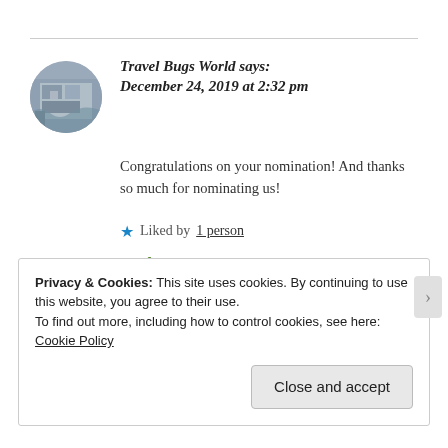Travel Bugs World says: December 24, 2019 at 2:32 pm
Congratulations on your nomination! And thanks so much for nominating us!
★ Liked by 1 person
Reply
Privacy & Cookies: This site uses cookies. By continuing to use this website, you agree to their use.
To find out more, including how to control cookies, see here: Cookie Policy
Close and accept